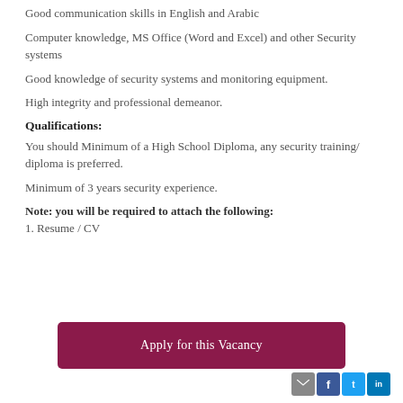Good communication skills in English and Arabic
Computer knowledge, MS Office (Word and Excel) and other Security systems
Good knowledge of security systems and monitoring equipment.
High integrity and professional demeanor.
Qualifications:
You should Minimum of a High School Diploma, any security training/ diploma is preferred.
Minimum of 3 years security experience.
Note: you will be required to attach the following:
1. Resume / CV
Apply for this Vacancy